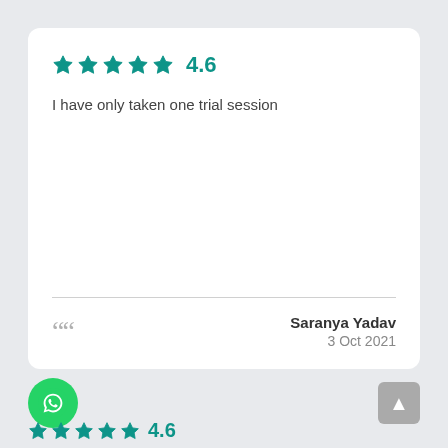[Figure (other): Star rating showing 5 teal stars and the number 4.6]
I have only taken one trial session
Saranya Yadav
3 Oct 2021
[Figure (other): WhatsApp green circle button icon]
[Figure (other): Scroll to top grey button with up arrow]
[Figure (other): Second review star rating: 5 teal stars and number 4.6]